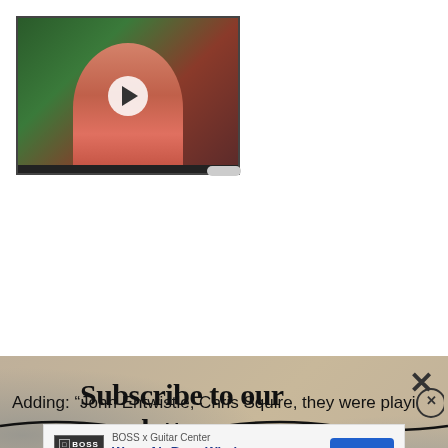[Figure (screenshot): Video thumbnail showing a person in a pink/red top against a colorful background, with a white play button circle in the center and video scrubber at the bottom]
[Figure (screenshot): Newsletter subscription banner with textured beige/tan background. Headline reads 'Subscribe to our newsletter' in large serif bold font. Below is an input field showing 'Your e-mail address' and a 'SIGN UP' button. An X close button is in the upper right.]
Adding: “John Entwistle, Chris Squire, they were playi…
[Figure (screenshot): Advertisement banner for 'BOSS x Guitar Center' promoting 'Waza-Air Bass Wireless Amp' with an 'Open' button in blue]